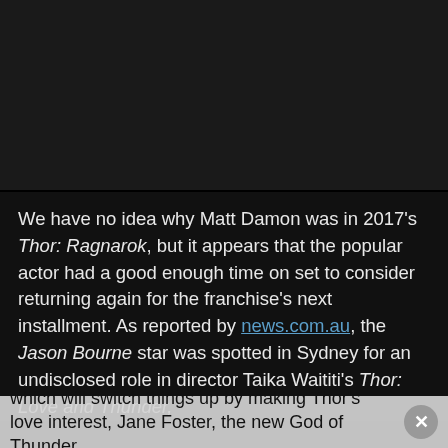[Figure (photo): Dark/black background area — appears to be a dark video thumbnail or image placeholder]
We have no idea why Matt Damon was in 2017's Thor: Ragnarok, but it appears that the popular actor had a good enough time on set to consider returning again for the franchise's next installment. As reported by news.com.au, the Jason Bourne star was spotted in Sydney for an undisclosed role in director Taika Waititi's Thor: Love and Thunder,
which will switch things up by making Thor's love interest, Jane Foster, the new God of Thunder.